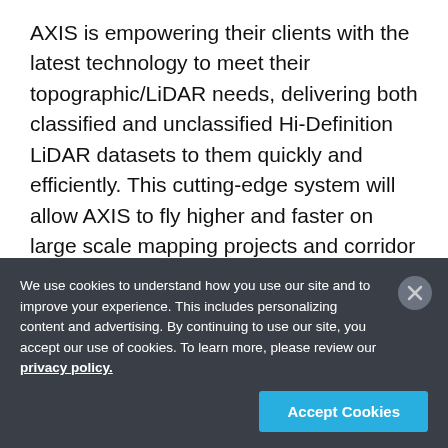AXIS is empowering their clients with the latest technology to meet their topographic/LiDAR needs, delivering both classified and unclassified Hi-Definition LiDAR datasets to them quickly and efficiently. This cutting-edge system will allow AXIS to fly higher and faster on large scale mapping projects and corridor work, which will provide clients with more dense point clouds, high precision data, faster acquisition, and more
We use cookies to understand how you use our site and to improve your experience. This includes personalizing content and advertising. By continuing to use our site, you accept our use of cookies. To learn more, please review our privacy policy.